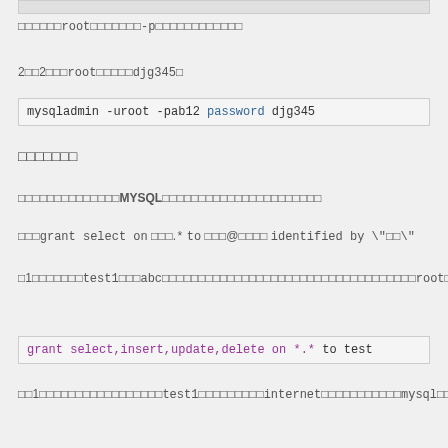□□□□□□root□□□□□□□-p□□□□□□□□□□□□
2□□2□□□root□□□□□djg345□
mysqladmin -uroot -pab12 password djg345
□□□□□□□
□□□□□□□□□□□□□□MYSQL□□□□□□□□□□□□□□□□□□□□□□
□□□grant select on □□□.* to □□□@□□□□ identified by \"□□\"
□1□□□□□□□test1□□□abc□□□□□□□□□□□□□□□□□□□□□□□□□□□□□□□□□□□□root□□□□MYSQL□□□□□□□□□□
grant select,insert,update,delete on *.* to test
□□1□□□□□□□□□□□□□□□□□test1□□□□□□□□□internet□□□□□□□□□□□mysql□□□□□□□□□□□□□□□□□□□□□2□